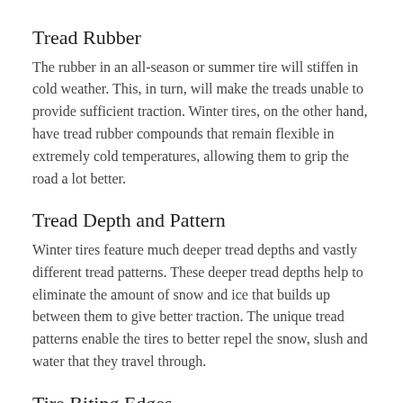Tread Rubber
The rubber in an all-season or summer tire will stiffen in cold weather. This, in turn, will make the treads unable to provide sufficient traction. Winter tires, on the other hand, have tread rubber compounds that remain flexible in extremely cold temperatures, allowing them to grip the road a lot better.
Tread Depth and Pattern
Winter tires feature much deeper tread depths and vastly different tread patterns. These deeper tread depths help to eliminate the amount of snow and ice that builds up between them to give better traction. The unique tread patterns enable the tires to better repel the snow, slush and water that they travel through.
Tire Biting Edges